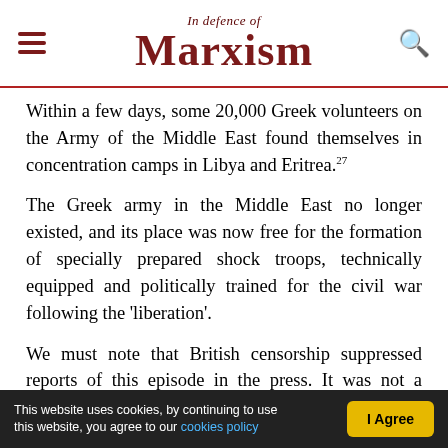In defence of Marxism
Within a few days, some 20,000 Greek volunteers on the Army of the Middle East found themselves in concentration camps in Libya and Eritrea.27
The Greek army in the Middle East no longer existed, and its place was now free for the formation of specially prepared shock troops, technically equipped and politically trained for the civil war following the 'liberation'.
We must note that British censorship suppressed reports of this episode in the press. It was not a minor episode, in fact it was very significant, which
This website uses cookies, by continuing to use this website, you agree to our cookies policy | I Agree